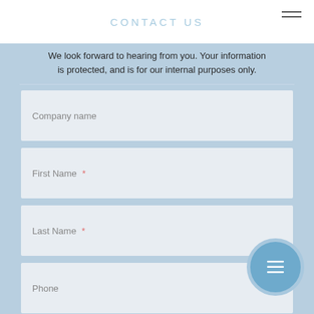CONTACT US
We look forward to hearing from you. Your information is protected, and is for our internal purposes only.
Company name
First Name *
Last Name *
Phone
E-mail *